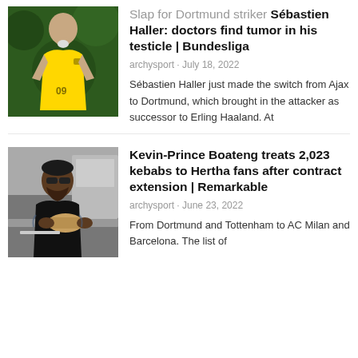[Figure (photo): Sébastien Haller in Dortmund yellow jersey]
Slap for Dortmund striker Sébastien Haller: doctors find tumor in his testicle | Bundesliga
archysport · July 18, 2022
Sébastien Haller just made the switch from Ajax to Dortmund, which brought in the attacker as successor to Erling Haaland. At
[Figure (photo): Kevin-Prince Boateng in kitchen holding kebab]
Kevin-Prince Boateng treats 2,023 kebabs to Hertha fans after contract extension | Remarkable
archysport · June 23, 2022
From Dortmund and Tottenham to AC Milan and Barcelona. The list of